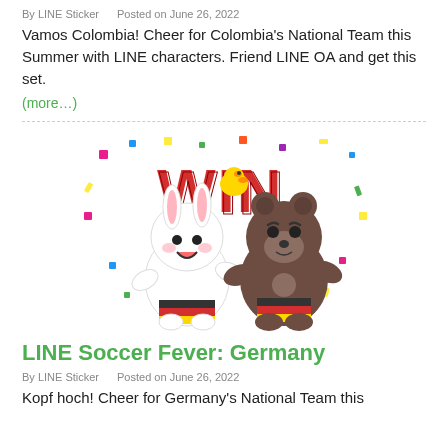By LINE Sticker   Posted on June 26, 2022
Vamos Colombia! Cheer for Colombia's National Team this Summer with LINE characters. Friend LINE OA and get this set.
(more…)
[Figure (illustration): LINE characters Cony (white rabbit) and Brown (bear) celebrating with 'WIN' text in red and confetti, wearing German soccer scarves]
LINE Soccer Fever: Germany
By LINE Sticker   Posted on June 26, 2022
Kopf hoch! Cheer for Germany's National Team this